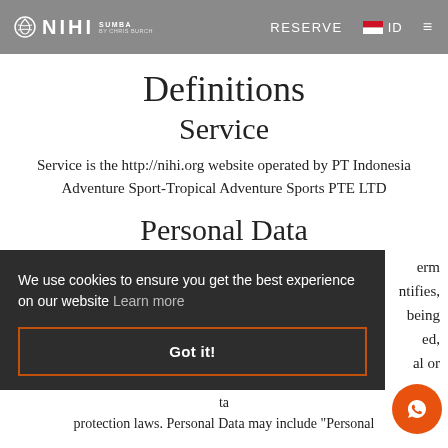NIHI SUMBA BY CHRIS BURCH | RESERVE | ID | ☰
Definitions
Service
Service is the http://nihi.org website operated by PT Indonesia Adventure Sport-Tropical Adventure Sports PTE LTD
Personal Data
…erm …ntifies, …being …ed, …al or …ta protection laws. Personal Data may include "Personal
We use cookies to ensure you get the best experience on our website Learn more
Got it!